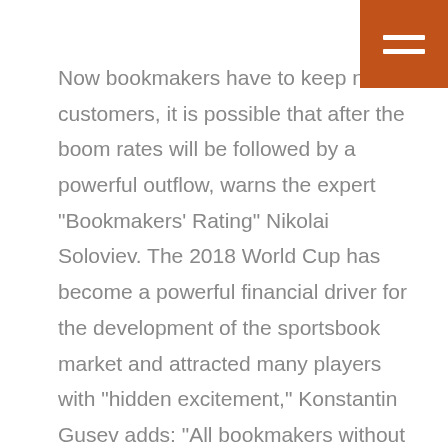[Figure (other): Orange square menu icon with two horizontal white bars in the top-right corner]
Now bookmakers have to keep new customers, it is possible that after the boom rates will be followed by a powerful outflow, warns the expert "Bookmakers' Rating" Nikolai Soloviev. The 2018 World Cup has become a powerful financial driver for the development of the sportsbook market and attracted many players with "hidden excitement," Konstantin Gusev adds: "All bookmakers without exception have acquired a lot of new customers, which will affect the financial activities of the companies at a distance." However, during the big tournaments "recreational players" always join, who then will not bet, he admits. "August in our business as a whole a period of a small lull. Obviously, this time seasonality will be felt even more, "he notes.